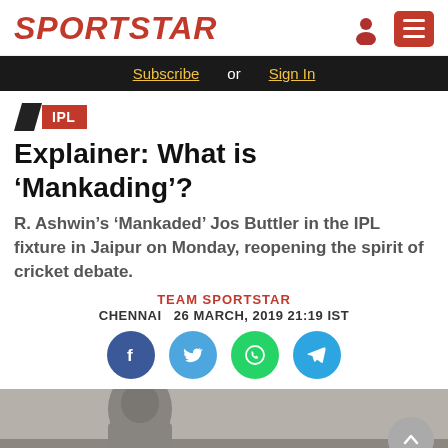SPORTSTAR
Subscribe or Sign In
IPL
Explainer: What is ‘Mankading’?
R. Ashwin’s ‘Mankaded’ Jos Buttler in the IPL fixture in Jaipur on Monday, reopening the spirit of cricket debate.
TEAM SPORTSTAR
CHENNAI  26 MARCH, 2019 21:19 IST
[Figure (photo): Black and white photograph of a person, partially visible at the bottom of the page]